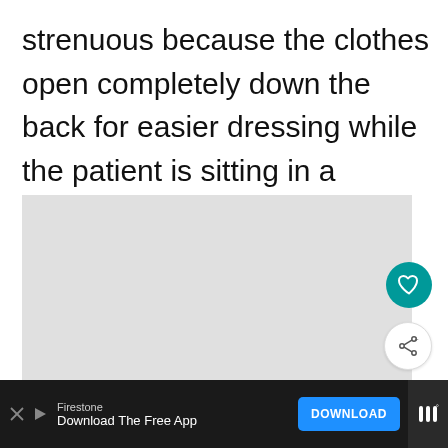strenuous because the clothes open completely down the back for easier dressing while the patient is sitting in a wheelchair or in bed.
[Figure (other): Gray image placeholder area with social action buttons (heart/like and share) on the right side, and a 'What's Next' thumbnail card for 'Adaptive Clothing For...' in the bottom-right corner]
[Figure (infographic): Advertisement bar at the bottom: Firestone brand, 'Download The Free App' text with a blue DOWNLOAD button and a menu icon on the right]